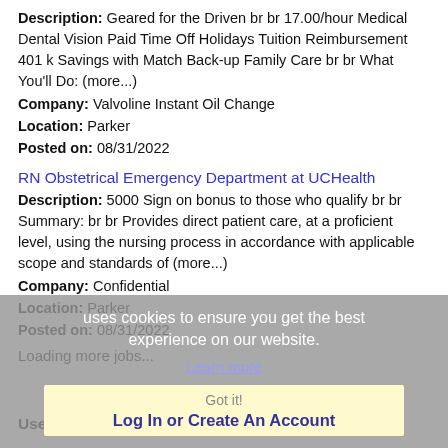Description: Geared for the Driven br br 17.00/hour Medical Dental Vision Paid Time Off Holidays Tuition Reimbursement 401 k Savings with Match Back-up Family Care br br What You'll Do: (more...)
Company: Valvoline Instant Oil Change
Location: Parker
Posted on: 08/31/2022
RN Obstetrical Emergency Department at UCHealth
Description: 5000 Sign on bonus to those who qualify br br Summary: br br Provides direct patient care, at a proficient level, using the nursing process in accordance with applicable scope and standards of (more...)
Company: Confidential
Location: Parker
Posted on: 08/31/2022
Loading more jobs...
uses cookies to ensure you get the best experience on our website.
Learn more
Got it!
Log In or Create An Account
Username: